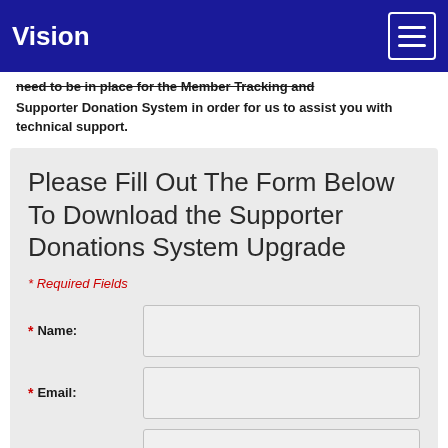Vision
need to be in place for the Member Tracking and Supporter Donation System in order for us to assist you with technical support.
Please Fill Out The Form Below To Download the Supporter Donations System Upgrade
* Required Fields
* Name:
* Email:
* Phone:
* Organization:
* Unit: